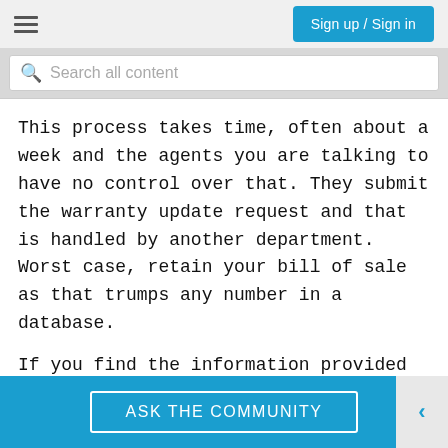Sign up / Sign in
Search all content
This process takes time, often about a week and the agents you are talking to have no control over that. They submit the warranty update request and that is handled by another department. Worst case, retain your bill of sale as that trumps any number in a database.

If you find the information provided useful or solves your problems, help other users find the solution easier by giving kudos and marking my post as an accepted solution.
ASK THE COMMUNITY